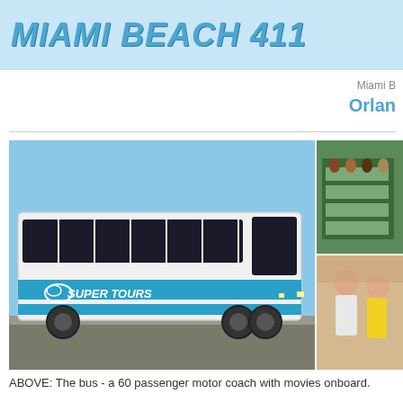MIAMI BEACH 411
Miami B
Orlan
[Figure (photo): White Super Tours 60-passenger motor coach bus parked outdoors with blue sky background. Side panels show blue graphic stripes and 'SUPER TOURS' branding. Two smaller photos on the right: top shows passengers inside the bus, bottom shows two people (a man and woman) standing together.]
ABOVE: The bus - a 60 passenger motor coach with movies onboard.
The Benefits of Booking With Us: